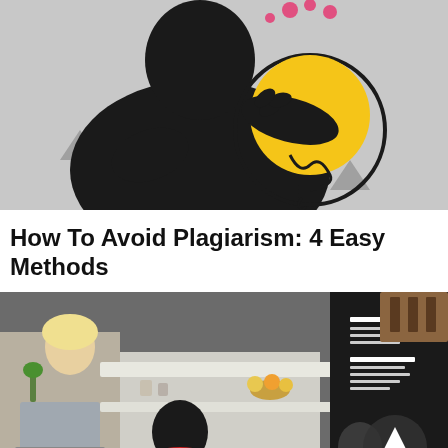[Figure (illustration): Illustration of a dark figure holding a glowing yellow lightbulb, on a grey background with triangle shapes]
How To Avoid Plagiarism: 4 Easy Methods
[Figure (photo): Overhead photo of a modern cafe interior with people sitting at counters, a menu board on the wall, and a circular button with an upward arrow in the bottom right corner]